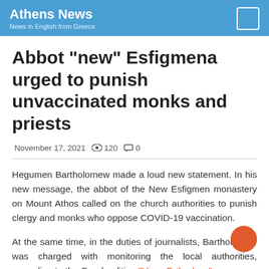Athens News
News in English from Greece
Abbot "new" Esfigmena urged to punish unvaccinated monks and priests
November 17, 2021  👁 120  💬 0
Hegumen Bartholomew made a loud new statement. In his new message, the abbot of the New Esfigmen monastery on Mount Athos called on the church authorities to punish clergy and monks who oppose COVID-19 vaccination.
At the same time, in the duties of journalists, Bartholomew was charged with monitoring the local authorities, according to the Greek edition "Vima Orthodoxy"...
According to Hegumen Novy Esfigmen, the authorities should